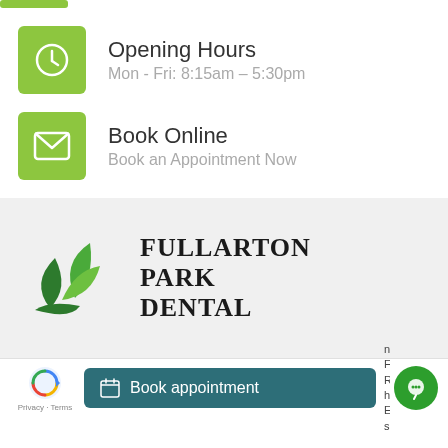[Figure (infographic): Green square icon with clock symbol]
Opening Hours
Mon - Fri: 8:15am – 5:30pm
[Figure (infographic): Green square icon with envelope/mail symbol]
Book Online
Book an Appointment Now
[Figure (logo): Fullarton Park Dental logo with green leaf illustration and serif text FULLARTON PARK DENTAL]
Book appointment
Fullarton Roa...
he Eastern suburb...
Privacy · Terms